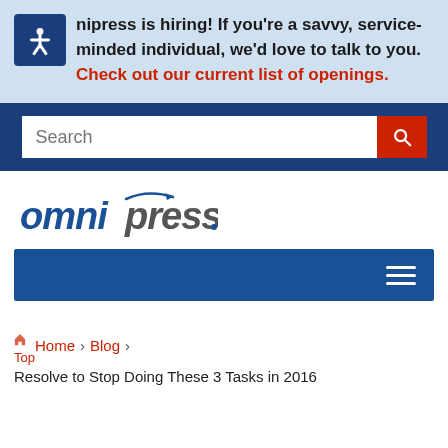Omnipress is hiring! If you're a savvy, service-minded individual, we'd love to talk to you. Check out our current list of openings.
[Figure (screenshot): Website search bar on dark blue background]
[Figure (logo): Omnipress logo with arrow]
[Figure (screenshot): Navigation bar with hamburger menu icon]
Home > Blog > Resolve to Stop Doing These 3 Tasks in 2016